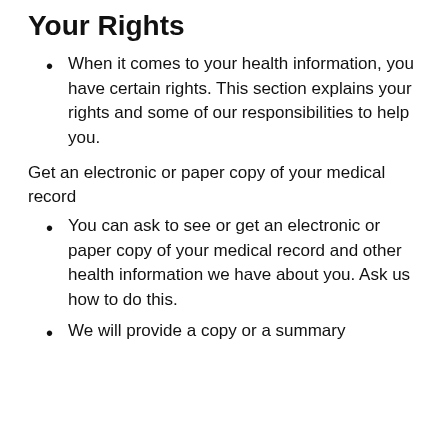Your Rights
When it comes to your health information, you have certain rights. This section explains your rights and some of our responsibilities to help you.
Get an electronic or paper copy of your medical record
You can ask to see or get an electronic or paper copy of your medical record and other health information we have about you. Ask us how to do this.
We will provide a copy or a summary